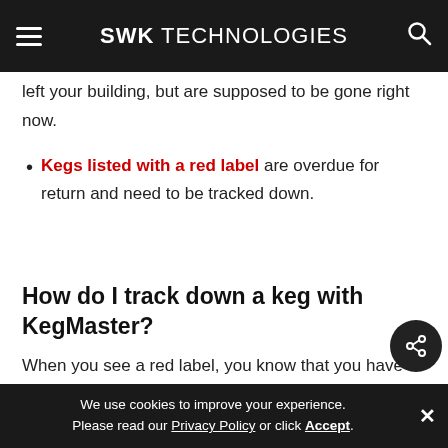SWK TECHNOLOGIES
left your building, but are supposed to be gone right now.
Kegs listed with a red label are overdue for return and need to be tracked down.
How do I track down a keg with KegMaster?
When you see a red label, you know that you have a problem. KegMaster allows you to customize the wait time before sending
We use cookies to improve your experience. Please read our Privacy Policy or click Accept.